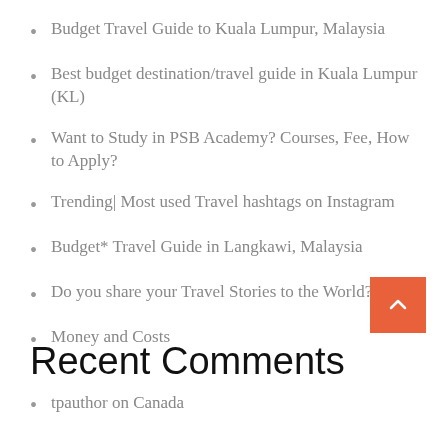Budget Travel Guide to Kuala Lumpur, Malaysia
Best budget destination/travel guide in Kuala Lumpur (KL)
Want to Study in PSB Academy? Courses, Fee, How to Apply?
Trending| Most used Travel hashtags on Instagram
Budget* Travel Guide in Langkawi, Malaysia
Do you share your Travel Stories to the World?
Money and Costs
Recent Comments
tpauthor on Canada